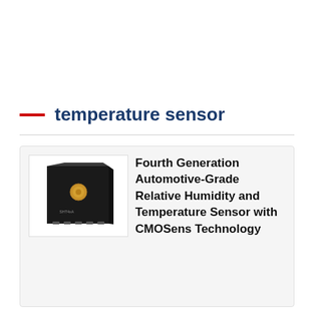temperature sensor
[Figure (photo): Photo of a small black square automotive humidity and temperature sensor chip (SHT4xA) with a gold-colored sensing port on top surface]
Fourth Generation Automotive-Grade Relative Humidity and Temperature Sensor with CMOSens Technology
Sensirion has introduced the new digital automotive sensor SHT4xA that is based on